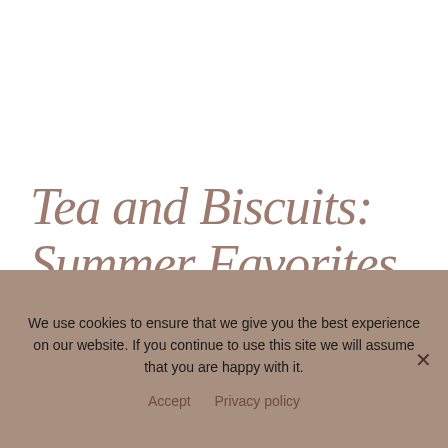Tea and Biscuits: Summer Favorites
LOVER OF ROMANCE AUG 27 2018 TEA AND BISCUITS
We use cookies to ensure that we give you the best experience on our website. If you continue to use this site we will assume that you are happy with it.
Accept   Privacy policy